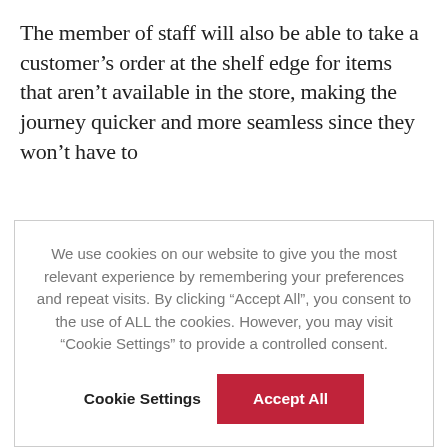The member of staff will also be able to take a customer's order at the shelf edge for items that aren't available in the store, making the journey quicker and more seamless since they won't have to
We use cookies on our website to give you the most relevant experience by remembering your preferences and repeat visits. By clicking "Accept All", you consent to the use of ALL the cookies. However, you may visit "Cookie Settings" to provide a controlled consent.
Cookie Settings   Accept All
Ramage says it is “unlikely” that further customer data will be incorporated into the store application.
The hardware being utilised has also changed with iPad minis being chosen for the full rollout. Ramage